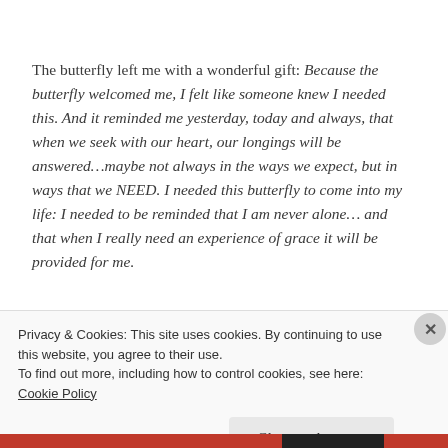The butterfly left me with a wonderful gift: Because the butterfly welcomed me, I felt like someone knew I needed this. And it reminded me yesterday, today and always, that when we seek with our heart, our longings will be answered…maybe not always in the ways we expect, but in ways that we NEED. I needed this butterfly to come into my life: I needed to be reminded that I am never alone… and that when I really need an experience of grace it will be provided for me.
Privacy & Cookies: This site uses cookies. By continuing to use this website, you agree to their use. To find out more, including how to control cookies, see here: Cookie Policy
Close and accept